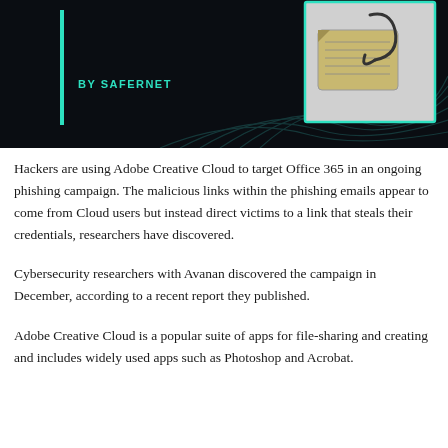[Figure (screenshot): Dark banner image with teal accent bar on left, text 'BY SAFERNET' in teal, and an image of a SIM card with fishhook on the right side, against a black background with teal wave lines.]
Hackers are using Adobe Creative Cloud to target Office 365 in an ongoing phishing campaign. The malicious links within the phishing emails appear to come from Cloud users but instead direct victims to a link that steals their credentials, researchers have discovered.
Cybersecurity researchers with Avanan discovered the campaign in December, according to a recent report they published.
Adobe Creative Cloud is a popular suite of apps for file-sharing and creating and includes widely used apps such as Photoshop and Acrobat.